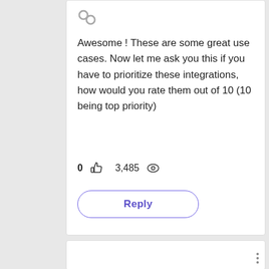[Figure (other): Chain link / share icon in gray]
Awesome ! These are some great use cases. Now let me ask you this if you have to prioritize these integrations, how would you rate them out of 10 (10 being top priority)
0 👍  3,485 👁
Reply